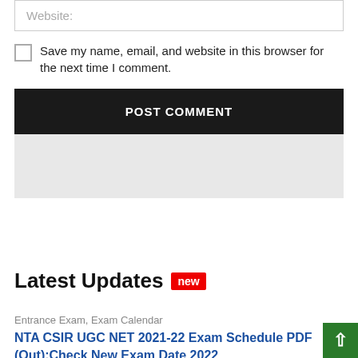Website:
Save my name, email, and website in this browser for the next time I comment.
POST COMMENT
Latest Updates new
Entrance Exam, Exam Calendar
NTA CSIR UGC NET 2021-22 Exam Schedule PDF (Out):Check New Exam Date 2022